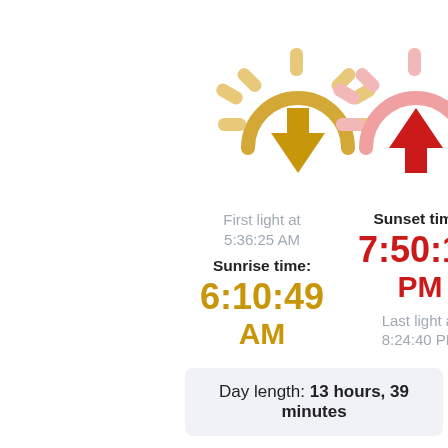[Figure (illustration): Two sun icons: left sun with golden color and upward arrow (sunrise), right sun with pinkish-red color and downward arrow (sunset)]
First light at 5:36:25 AM
Sunrise time: 6:10:49 AM
Sunset time: 7:50:16 PM
Last light at 8:24:40 PM
Day length: 13 hours, 39 minutes